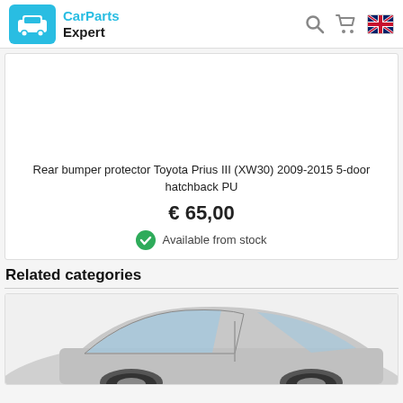CarParts Expert
[Figure (photo): Product area with blank image placeholder for rear bumper protector]
Rear bumper protector Toyota Prius III (XW30) 2009-2015 5-door hatchback PU
€ 65,00
Available from stock
Related categories
[Figure (photo): Partial image of a silver/grey car showing side and rear view]